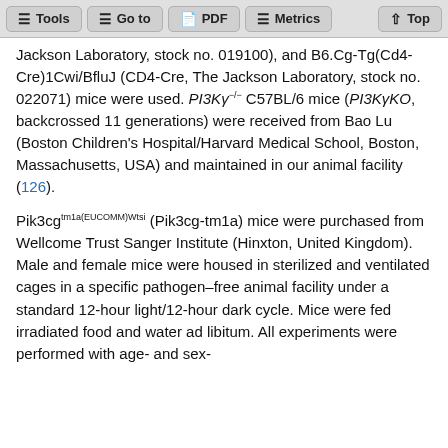Tools  Go to  PDF  Metrics  Top
Jackson Laboratory, stock no. 019100), and B6.Cg-Tg(Cd4-Cre)1Cwi/BfluJ (CD4-Cre, The Jackson Laboratory, stock no. 022071) mice were used. PI3Ky−/− C57BL/6 mice (PI3KyKO, backcrossed 11 generations) were received from Bao Lu (Boston Children's Hospital/Harvard Medical School, Boston, Massachusetts, USA) and maintained in our animal facility (126).
Pik3cgtm1a(EUCOMM)Wtsi (Pik3cg-tm1a) mice were purchased from Wellcome Trust Sanger Institute (Hinxton, United Kingdom). Male and female mice were housed in sterilized and ventilated cages in a specific pathogen–free animal facility under a standard 12-hour light/12-hour dark cycle. Mice were fed irradiated food and water ad libitum. All experiments were performed with age- and sex-